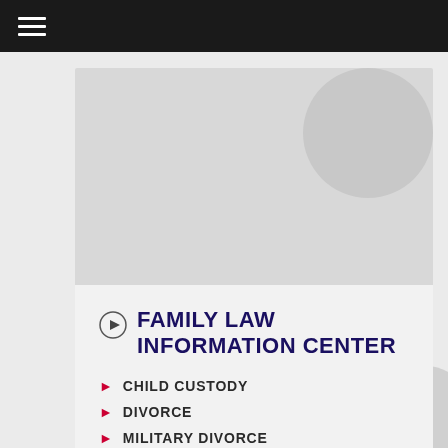Navigation bar with hamburger menu
[Figure (photo): Gray placeholder image block with circular decorative elements]
FAMILY LAW INFORMATION CENTER
CHILD CUSTODY
DIVORCE
MILITARY DIVORCE